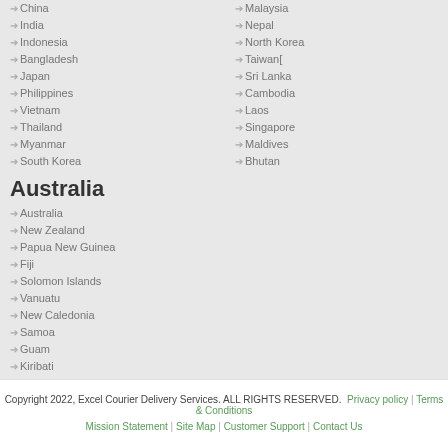China
India
Indonesia
Bangladesh
Japan
Philippines
Vietnam
Thailand
Myanmar
South Korea
Australia
Australia
New Zealand
Papua New Guinea
Fiji
Solomon Islands
Vanuatu
New Caledonia
Samoa
Guam
Kiribati
Africa
Egypt
South Africa
Morocco
Tunisia
Kenya
Libya
Algeria
Sierra Leone
Tanzania
Libya
Malaysia
Nepal
North Korea
Taiwan[
Sri Lanka
Cambodia
Laos
Singapore
Maldives
Bhutan
Copyright 2022, Excel Courier Delivery Services. ALL RIGHTS RESERVED. Privacy policy | Terms & Conditions Mission Statement | Site Map | Customer Support | Contact Us